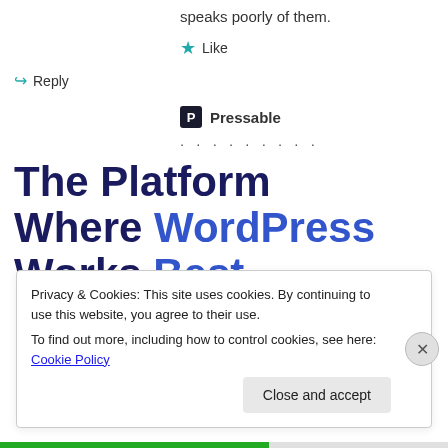speaks poorly of them.
★ Like
↪ Reply
Pressable
. . . . . . . . .
The Platform Where WordPress Works Best
Privacy & Cookies: This site uses cookies. By continuing to use this website, you agree to their use.
To find out more, including how to control cookies, see here: Cookie Policy
Close and accept